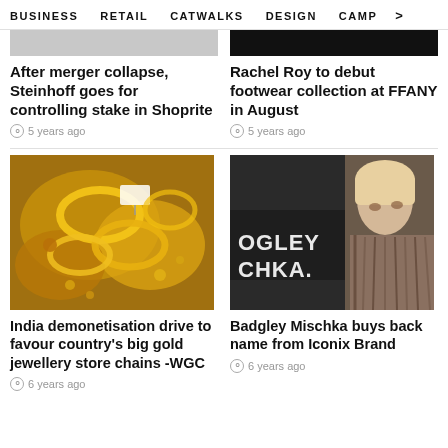BUSINESS  RETAIL  CATWALKS  DESIGN  CAMP  >
[Figure (photo): Light gray placeholder image strip for Steinhoff/Shoprite article]
After merger collapse, Steinhoff goes for controlling stake in Shoprite
5 years ago
[Figure (photo): Dark banner image for Rachel Roy article]
Rachel Roy to debut footwear collection at FFANY in August
5 years ago
[Figure (photo): Photo of gold jewellery — bangles and ornate gold pieces with price tags]
India demonetisation drive to favour country's big gold jewellery store chains -WGC
6 years ago
[Figure (photo): Photo of blonde woman at Badgley Mischka branded backdrop]
Badgley Mischka buys back name from Iconix Brand
6 years ago